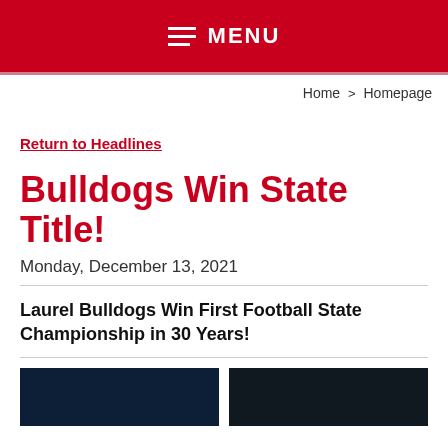MENU
Home > Homepage
Return to Headlines
Bulldogs Win State Title!
Monday, December 13, 2021
Laurel Bulldogs Win First Football State Championship in 30 Years!
[Figure (photo): Two dark photos of a football event/celebration side by side at the bottom of the page]